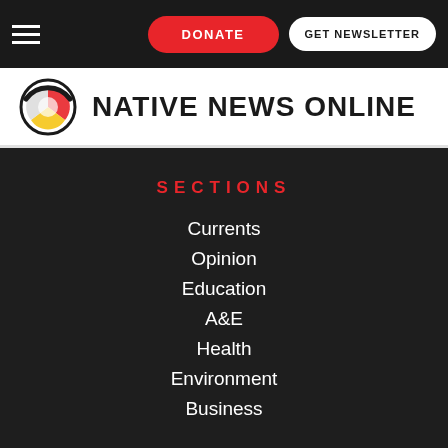Native News Online - Navigation header with DONATE and GET NEWSLETTER buttons
[Figure (logo): Native News Online logo with circular multi-color emblem and bold uppercase text]
SECTIONS
Currents
Opinion
Education
A&E
Health
Environment
Business